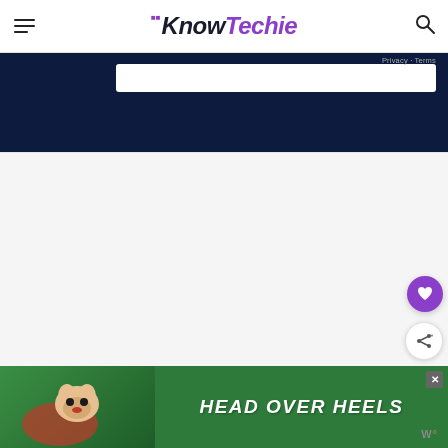KnowTechie
[Figure (screenshot): Dark navy blue banner area with white form/input area and Privacy/Terms links]
[Figure (screenshot): Light gray empty content area with floating action buttons: purple heart button and white share button]
[Figure (photo): Green advertisement banner at bottom reading HEAD OVER HEELS with dog image on left, close button, and W° logo on right]